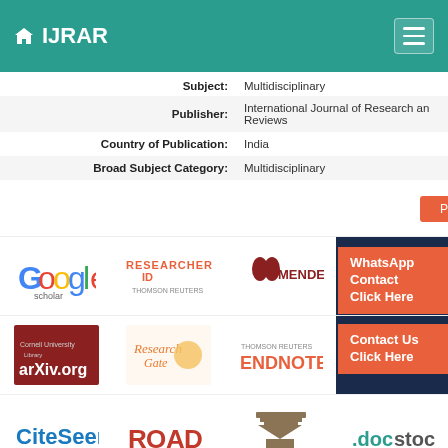IJRAR
| Subject: | Multidisciplinary |
| Publisher: | International Journal of Research and Reviews |
| Country of Publication: | India |
| Broad Subject Category: | Multidisciplinary |
Print
[Figure (logo): Google Scholar logo]
[Figure (logo): ResearcherID Thomson Reuters logo]
[Figure (logo): Mendeley logo]
[Figure (logo): Academia.edu logo]
[Figure (logo): arXiv.org Cornell University Library logo]
[Figure (logo): ResearchGate logo]
[Figure (logo): Thomson Reuters Endnote logo]
[Figure (logo): R logo (partial)]
[Figure (logo): CiteSeer logo]
[Figure (logo): ROAD logo]
[Figure (logo): DRJI logo]
[Figure (logo): Docstoc logo]